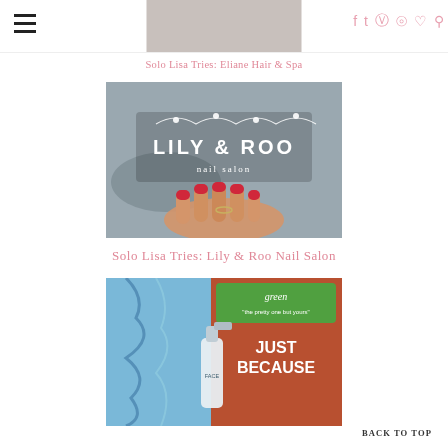Navigation header with hamburger menu, logo image, and social icons (Facebook, Twitter, Instagram, Pinterest, Heart, Search)
Solo Lisa Tries: Eliane Hair & Spa
[Figure (photo): Photo of Lily & Roo nail salon sign on a glass window with a hand showing red manicured nails in the foreground]
Solo Lisa Tries: Lily & Roo Nail Salon
[Figure (photo): Photo of beauty/skincare products including a green Just Because face spray product and blue packaging]
BACK TO TOP